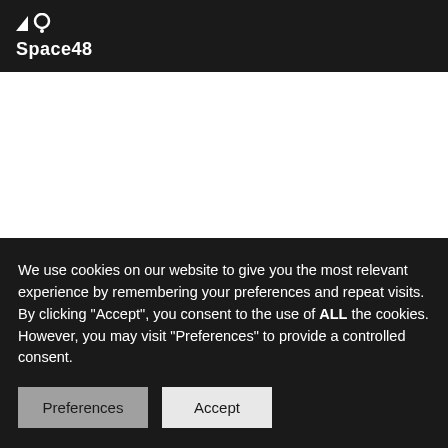Space48
How responsive is B2B?
I also find it a little unusual that different device types are often overlooked in the B2B world. I appreciate that often desktop
We use cookies on our website to give you the most relevant experience by remembering your preferences and repeat visits. By clicking "Accept", you consent to the use of ALL the cookies. However, you may visit "Preferences" to provide a controlled consent.
Preferences
Accept